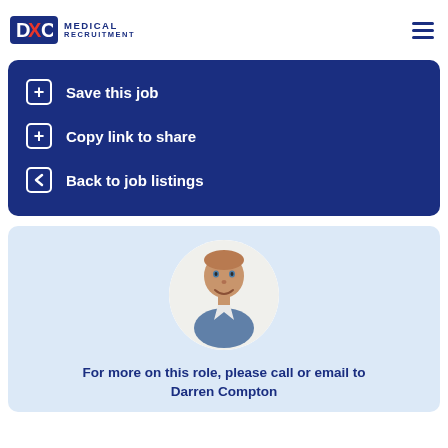DXC MEDICAL RECRUITMENT
Save this job
Copy link to share
Back to job listings
[Figure (photo): Circular headshot photo of Darren Compton, a middle-aged man smiling, against a white circle background on a light blue card]
For more on this role, please call or email to Darren Compton